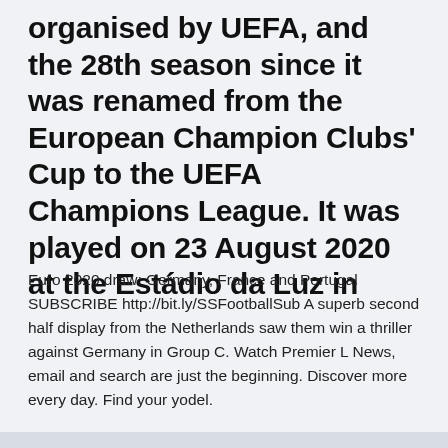organised by UEFA, and the 28th season since it was renamed from the European Champion Clubs' Cup to the UEFA Champions League. It was played on 23 August 2020 at the Estádio da Luz in
Euro 2020 draw: Germany, France and Portugal SUBSCRIBE http://bit.ly/SSFootballSub A superb second half display from the Netherlands saw them win a thriller against Germany in Group C. Watch Premier L News, email and search are just the beginning. Discover more every day. Find your yodel.